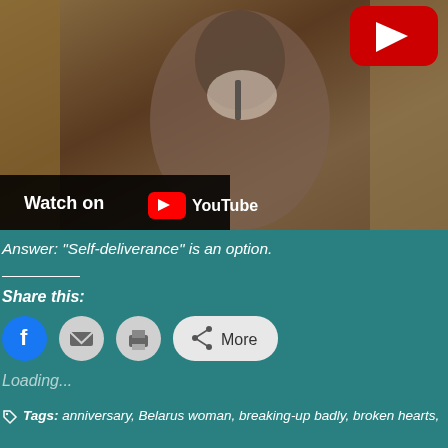[Figure (screenshot): YouTube video thumbnail showing a person at a podium/microphone. A YouTube play button (red with white triangle) is visible in the top right. A 'Watch on YouTube' overlay bar is at the bottom left of the video.]
Answer: "Self-deliverance" is an option.
Share this:
[Figure (screenshot): Social sharing buttons: Facebook (blue circle), Email (grey circle), Print (grey circle), and a 'More' button with share icon.]
Loading...
Tags: anniversary, Belarus woman, breaking-up badly, broken hearts,